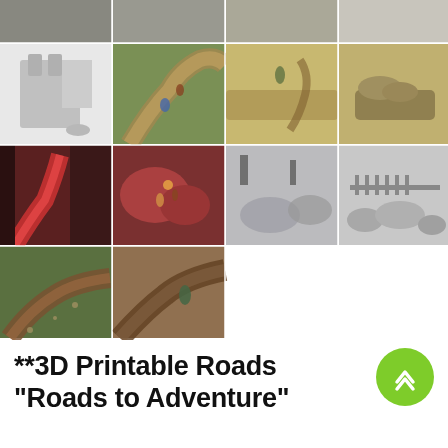[Figure (photo): A 4-column photo grid collage of 3D printable terrain/roads miniature gaming pieces. Top row shows 4 partial images. Second row: grey tower miniature on white background; painted winding road with miniature figures; sandy path with figure; rocky terrain piece. Third row: red lava/blood river terrain; red rocky terrain with figurines; grey winter scene; grey ruins/fence terrain. Fourth row (partial, 2 cells): green grassy road; brown dirt path terrain.]
**3D Printable Roads "Roads to Adventure"